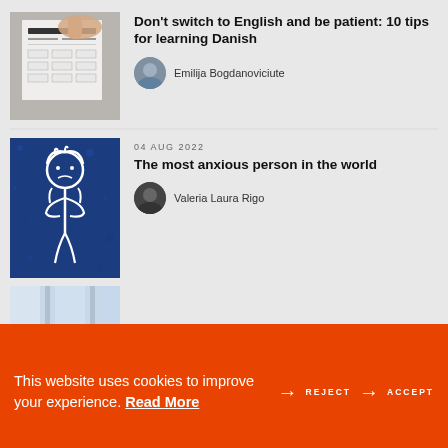[Figure (photo): Hand holding a document form, used as thumbnail for Danish language learning article]
Don't switch to English and be patient: 10 tips for learning Danish
Emilija Bogdanoviciute
[Figure (illustration): Blue and white illustration of an anxious person, used as thumbnail for article about anxiety]
04 AUG 2022
The most anxious person in the world
Valeria Laura Rigo
[Figure (photo): Partially visible photo used as thumbnail for a third article]
This website uses cookies to improve your experience. Read More → REJECT → ACCEPT